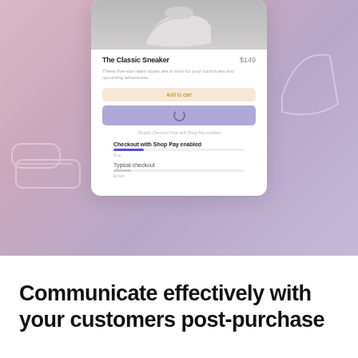[Figure (screenshot): A mobile UI mockup showing a product card for 'The Classic Sneaker' priced at $149 with Add to Cart button, Shop Pay button with spinner, Shopify Checkout Flow label, a 'Checkout with Shop Pay enabled' progress comparison section and a 'Typical checkout' section. The card is overlaid on a pinkish-purple gradient background with decorative sneaker outline illustrations.]
Communicate effectively with your customers post-purchase